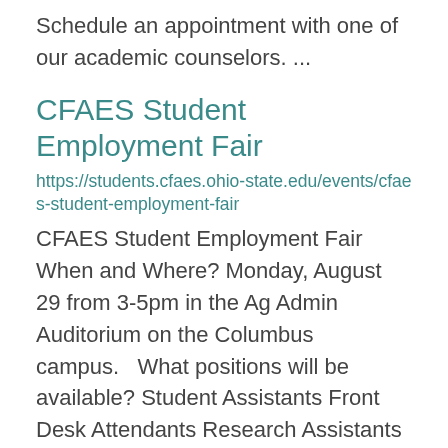Schedule an appointment with one of our academic counselors. ...
CFAES Student Employment Fair
https://students.cfaes.ohio-state.edu/events/cfaes-student-employment-fair
CFAES Student Employment Fair When and Where? Monday, August 29 from 3-5pm in the Ag Admin Auditorium on the Columbus campus.   What positions will be available? Student Assistants Front Desk Attendants Research Assistants Interns Part-Time Help Any other ...
Summer Veggies, Fruit Leather